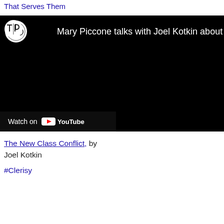Elites and the Clerisy Class That Serves Them
[Figure (screenshot): Embedded YouTube video thumbnail showing Mary Piccone talks with Joel Kotkin about The New Class Conflict. Black video frame with channel icon (circular TTP logo) and title text at top, and 'Watch on YouTube' bar at bottom left.]
The New Class Conflict, by Joel Kotkin
#Clerisy